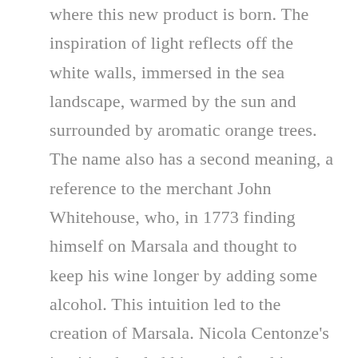where this new product is born. The inspiration of light reflects off the white walls, immersed in the sea landscape, warmed by the sun and surrounded by aromatic orange trees. The name also has a second meaning, a reference to the merchant John Whitehouse, who, in 1773 finding himself on Marsala and thought to keep his wine longer by adding some alcohol. This intuition led to the creation of Marsala. Nicola Centonze's intuition has led him to infuse his island wine with the local bitter herbs. The innovation of a Marsala wine with the addition of a bitter component can be enjoyed as both an aperitivo or after dinner.